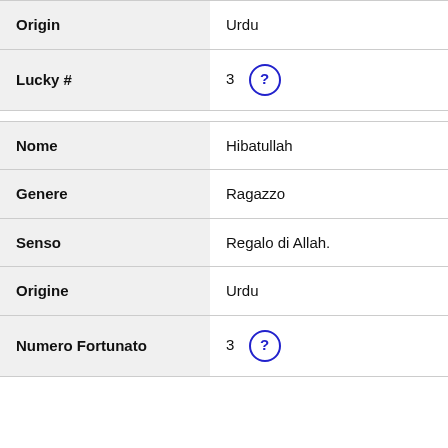| Origin | Urdu |
| Lucky # | 3 ? |
| Nome | Hibatullah |
| Genere | Ragazzo |
| Senso | Regalo di Allah. |
| Origine | Urdu |
| Numero Fortunato | 3 ? |